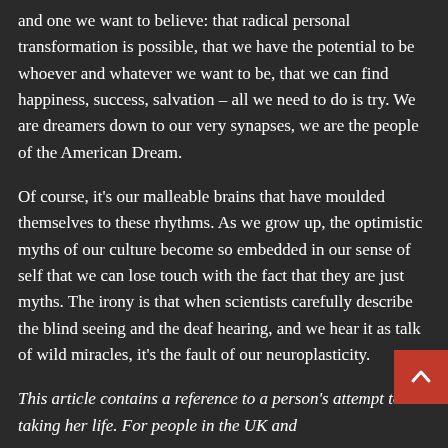and one we want to believe: that radical personal transformation is possible, that we have the potential to be whoever and whatever we want to be, that we can find happiness, success, salvation – all we need to do is try. We are dreamers down to our very synapses, we are the people of the American Dream.

Of course, it's our malleable brains that have moulded themselves to these rhythms. As we grow up, the optimistic myths of our culture become so embedded in our sense of self that we can lose touch with the fact that they are just myths. The irony is that when scientists carefully describe the blind seeing and the deaf hearing, and we hear it as talk of wild miracles, it's the fault of our neuroplasticity.

This article contains a reference to a person's attempt to taking her life. For people in the UK and